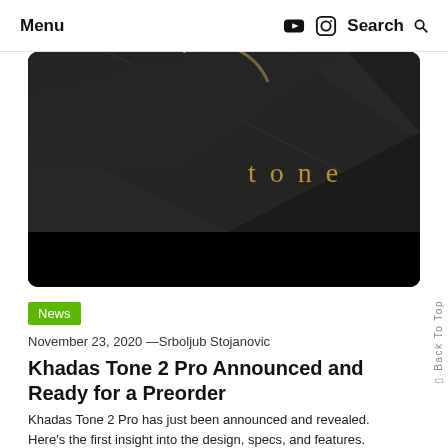Menu  Search
[Figure (photo): Close-up product photo of the Khadas Tone 2 Pro audio device — dark matte surface with angular geometric design and gold accent text reading 'tone' on a black background]
News
November 23, 2020 —Srboljub Stojanovic
Khadas Tone 2 Pro Announced and Ready for a Preorder
Khadas Tone 2 Pro has just been announced and revealed. Here's the first insight into the design, specs, and features.